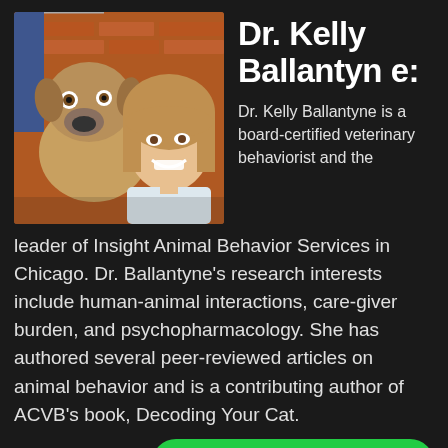[Figure (photo): Photo of Dr. Kelly Ballantyne smiling with a large brown dog, outdoors in front of a brick building with a blue door.]
Dr. Kelly Ballantyne:
Dr. Kelly Ballantyne is a board-certified veterinary behaviorist and the leader of Insight Animal Behavior Services in Chicago. Dr. Ballantyne's research interests include human-animal interactions, care-giver burden, and psychopharmacology. She has authored several peer-reviewed articles on animal behavior and is a contributing author of ACVB's book, Decoding Your Cat.
Send Voicemail Now!